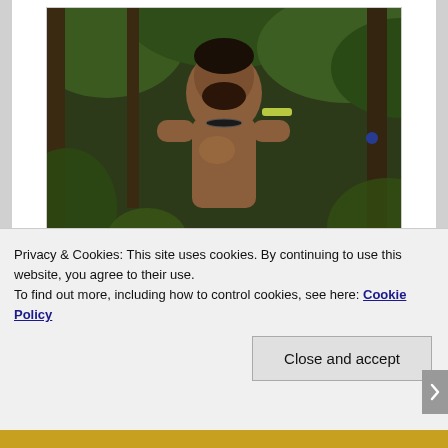[Figure (photo): A shirtless man in a jungle/swamp setting holding something, surrounded by trees and green foliage]
focused on conquering the Louisiana swamplands and his mindset that was forcing him to question himself and his mindset... but I feel Ky's quote resonated with yesterdays daily submission titled “This Is Who I Am” – a daily submission where I talk about me and my inner self as if it was just as an onion is multi-layered and protective of its core.
Privacy & Cookies: This site uses cookies. By continuing to use this website, you agree to their use.
To find out more, including how to control cookies, see here: Cookie Policy
Close and accept